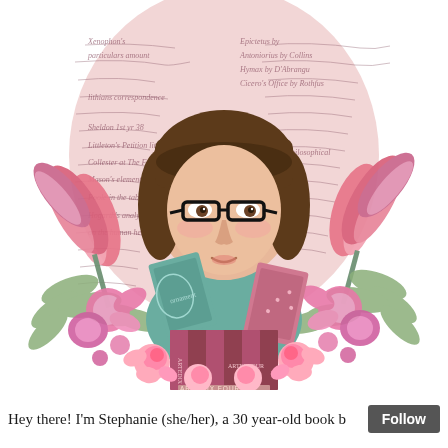[Figure (illustration): A digital portrait illustration of a young woman with a brown bob haircut and black-rimmed glasses, wearing a teal/green top. She is surrounded by a floral arrangement of pink tulips, magnolias, and roses with green foliage. She holds decorative books. Behind her is a large oval shape overlaid on handwritten manuscript text on a pink background. At the bottom of the floral arrangement are several books spine-forward with text 'ARTEDIX FOUR'.]
Hey there! I'm Stephanie (she/her), a 30 year-old book b
Follow